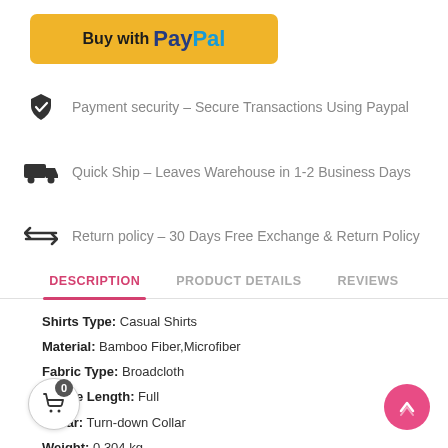[Figure (logo): Buy with PayPal button - yellow rounded rectangle with 'Buy with' text and PayPal logo in blue/dark blue]
Payment security - Secure Transactions Using Paypal
Quick Ship - Leaves Warehouse in 1-2 Business Days
Return policy - 30 Days Free Exchange & Return Policy
DESCRIPTION    PRODUCT DETAILS    REVIEWS
Shirts Type: Casual Shirts
Material: Bamboo Fiber,Microfiber
Fabric Type: Broadcloth
Sleeve Length: Full
Collar: Turn-down Collar
Weight: 0.304 kg
Package Contents: 1xShirt